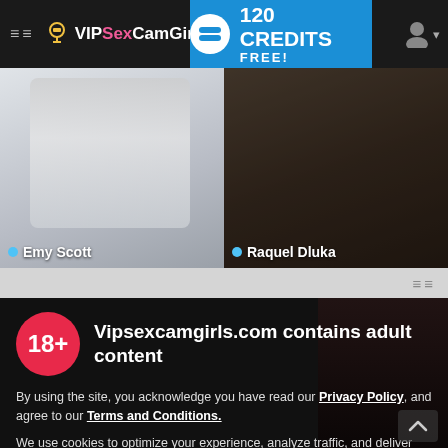≡≡ VIPSexCamGirls | 120 CREDITS FREE!
[Figure (screenshot): Two webcam preview thumbnails side by side: left shows a woman lying on a bed (Emy Scott), right shows a woman in dim lighting (Raquel Dluka). Both have blue online indicator dots and name labels.]
Vipsexcamgirls.com contains adult content
By using the site, you acknowledge you have read our Privacy Policy, and agree to our Terms and Conditions.
We use cookies to optimize your experience, analyze traffic, and deliver more personalized service. To learn more, please see our Privacy Policy.
I AGREE